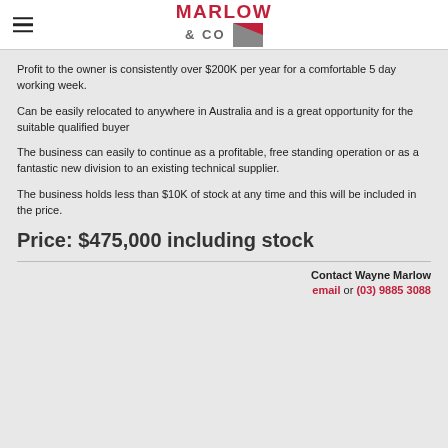MARLOW & CO
Profit to the owner is consistently over $200K per year for a comfortable 5 day working week.
Can be easily relocated to anywhere in Australia and is a great opportunity for the suitable qualified buyer
The business can easily to continue as a profitable, free standing operation or as a fantastic new division to an existing technical supplier.
The business holds less than $10K of stock at any time and this will be included in the price.
Price: $475,000 including stock
Contact Wayne Marlow
email or (03) 9885 3088